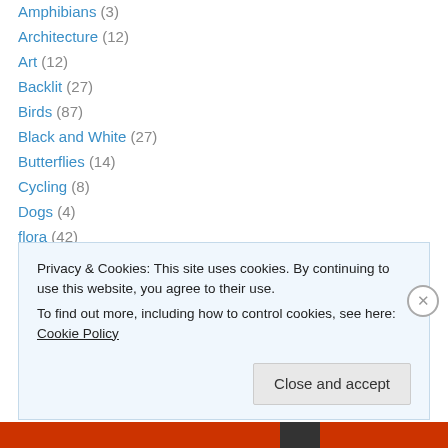Amphibians (3)
Architecture (12)
Art (12)
Backlit (27)
Birds (87)
Black and White (27)
Butterflies (14)
Cycling (8)
Dogs (4)
flora (42)
Flowers (56)
Frogs and Toads (3)
HDR (14)
Privacy & Cookies: This site uses cookies. By continuing to use this website, you agree to their use. To find out more, including how to control cookies, see here: Cookie Policy
Close and accept